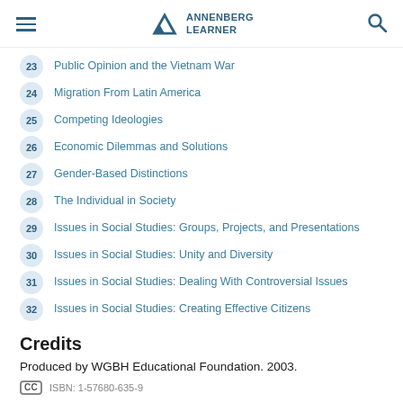Annenberg Learner
23 Public Opinion and the Vietnam War
24 Migration From Latin America
25 Competing Ideologies
26 Economic Dilemmas and Solutions
27 Gender-Based Distinctions
28 The Individual in Society
29 Issues in Social Studies: Groups, Projects, and Presentations
30 Issues in Social Studies: Unity and Diversity
31 Issues in Social Studies: Dealing With Controversial Issues
32 Issues in Social Studies: Creating Effective Citizens
Credits
Produced by WGBH Educational Foundation. 2003.
CC  ISBN: 1-57680-635-9